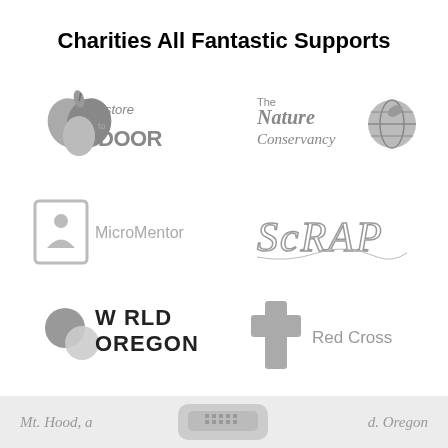Charities All Fantastic Supports
[Figure (logo): Store to Door logo - grayscale heart/apple icon with 'store to DOOR' text]
[Figure (logo): The Nature Conservancy logo - grayscale globe icon with text]
[Figure (logo): MicroMentor logo - grayscale square icon with figure and text]
[Figure (logo): SCRAP logo - hand-drawn style text in grayscale]
[Figure (logo): World Oregon logo - grayscale circles forming globe shape with text]
[Figure (logo): Red Cross logo - grayscale cross symbol with Red Cross text]
Mt. Hood, a ... d. Oregon